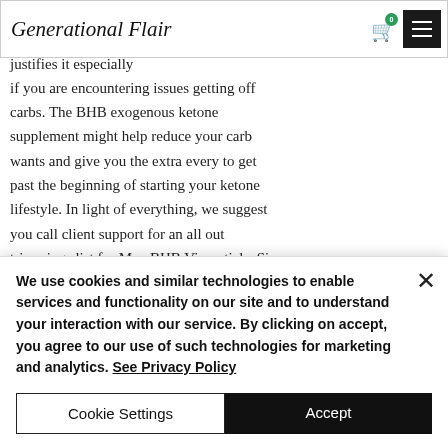Generational Flair
hydroxybutyrate). Likewise, these ones can be valuable for a justifies it especially if you are encountering issues getting off carbs. The BHB exogenous ketone supplement might help reduce your carb wants and give you the extra every to get past the beginning of starting your ketone lifestyle. In light of everything, we suggest you call client support for an all out trimmings list for Max BHB Vissentials. Since it's for each situation incredible to know exactly the thing you're buying.
We use cookies and similar technologies to enable services and functionality on our site and to understand your interaction with our service. By clicking on accept, you agree to our use of such technologies for marketing and analytics. See Privacy Policy
Cookie Settings
Accept